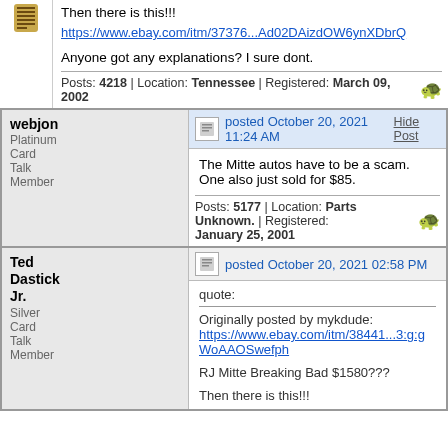Then there is this!!!
https://www.ebay.com/itm/37376...Ad02DAizdOW6ynXDbrQ
Anyone got any explanations? I sure dont.
Posts: 4218 | Location: Tennessee | Registered: March 09, 2002
webjon
Platinum Card Talk Member
posted October 20, 2021 11:24 AM
The Mitte autos have to be a scam. One also just sold for $85.
Posts: 5177 | Location: Parts Unknown. | Registered: January 25, 2001
Ted Dastick Jr.
Silver Card Talk Member
posted October 20, 2021 02:58 PM
quote:
Originally posted by mykdude:
https://www.ebay.com/itm/38441...3:g:gWoAAOSwefph
RJ Mitte Breaking Bad $1580???
Then there is this!!!